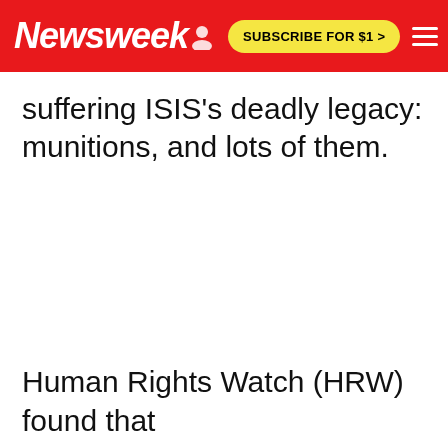Newsweek | SUBSCRIBE FOR $1 >
suffering ISIS's deadly legacy: munitions, and lots of them.
Human Rights Watch (HRW) found that